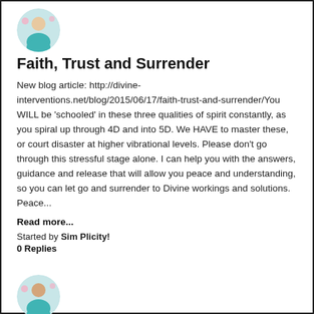[Figure (photo): Circular avatar photo of a woman in a teal/blue top with floral background]
Faith, Trust and Surrender
New blog article: http://divine-interventions.net/blog/2015/06/17/faith-trust-and-surrender/You WILL be 'schooled' in these three qualities of spirit constantly, as you spiral up through 4D and into 5D. We HAVE to master these, or court disaster at higher vibrational levels. Please don't go through this stressful stage alone. I can help you with the answers, guidance and release that will allow you peace and understanding, so you can let go and surrender to Divine workings and solutions. Peace...
Read more...
Started by Sim Plicity!
0 Replies
[Figure (photo): Circular avatar photo of a woman in a teal top with floral background]
New blog on Fear
Hi everyone, and blessings to all of you who have joined